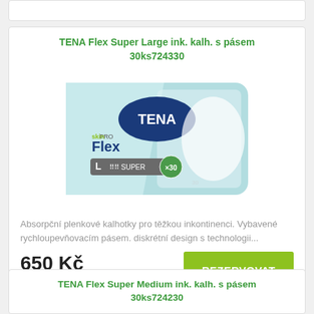TENA Flex Super Large ink. kalh. s pásem 30ks724330
[Figure (photo): Package of TENA ProSkin Flex Super Large incontinence belted briefs, 30 count, light blue packaging with TENA logo]
Absorpční plenkové kalhotky pro těžkou inkontinenci. Vybavené rychloupevňovacím pásem. diskrétní design s technologii...
650 Kč
skladem
TENA Flex Super Medium ink. kalh. s pásem 30ks724230